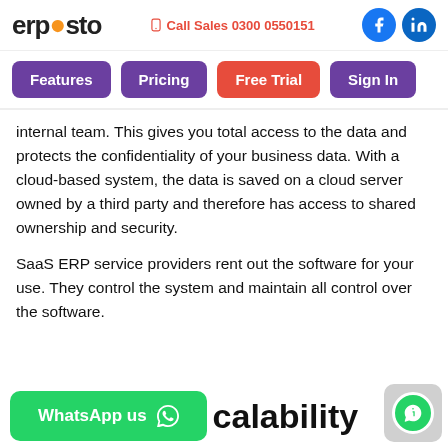ERPOSTO | Call Sales 0300 0550151
Features | Pricing | Free Trial | Sign In
internal team. This gives you total access to the data and protects the confidentiality of your business data. With a cloud-based system, the data is saved on a cloud server owned by a third party and therefore has access to shared ownership and security.
SaaS ERP service providers rent out the software for your use. They control the system and maintain all control over the software.
calability